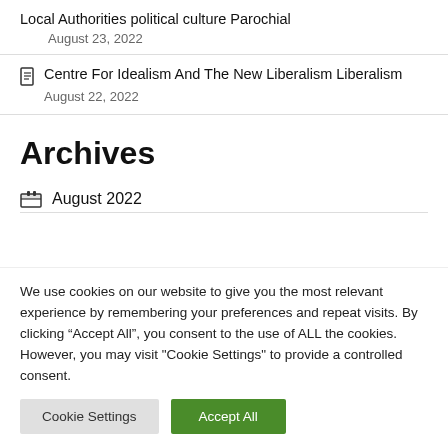Local Authorities political culture Parochial
August 23, 2022
Centre For Idealism And The New Liberalism Liberalism
August 22, 2022
Archives
August 2022
We use cookies on our website to give you the most relevant experience by remembering your preferences and repeat visits. By clicking “Accept All”, you consent to the use of ALL the cookies. However, you may visit "Cookie Settings" to provide a controlled consent.